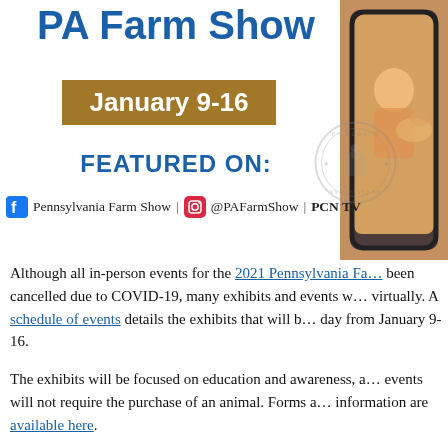PA Farm Show
January 9-16
FEATURED ON:
Pennsylvania Farm Show | @PAFarmShow | PCN TV
[Figure (photo): Photo of person with animal at farm show, displayed on a smartphone, with PA Senate Republicans seal watermark]
Although all in-person events for the 2021 Pennsylvania Farm Show have been cancelled due to COVID-19, many exhibits and events will be held virtually. A schedule of events details the exhibits that will be featured each day from January 9-16.
The exhibits will be focused on education and awareness, and many events will not require the purchase of an animal. Forms and more information are available here.